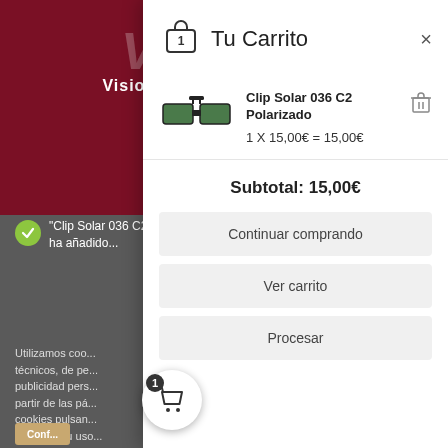[Figure (screenshot): VisionLab website background with dark red header, logo, and cookie notification overlay]
Tu Carrito
[Figure (photo): Clip Solar 036 C2 Polarizado sunglasses clip-on product image]
Clip Solar 036 C2 Polarizado
1 X 15,00€ = 15,00€
Subtotal: 15,00€
Continuar comprando
Ver carrito
Procesar